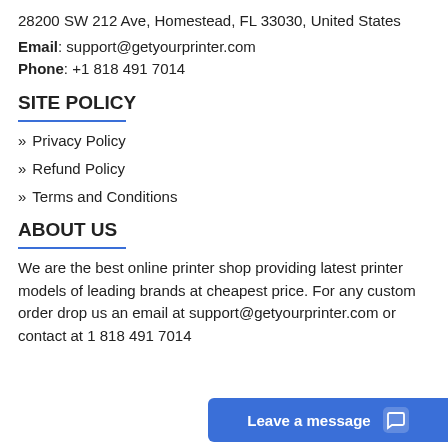28200 SW 212 Ave, Homestead, FL 33030, United States
Email: support@getyourprinter.com
Phone: +1 818 491 7014
SITE POLICY
» Privacy Policy
» Refund Policy
» Terms and Conditions
ABOUT US
We are the best online printer shop providing latest printer models of leading brands at cheapest price. For any custom order drop us an email at support@getyourprinter.com or contact at 1 818 491 7014